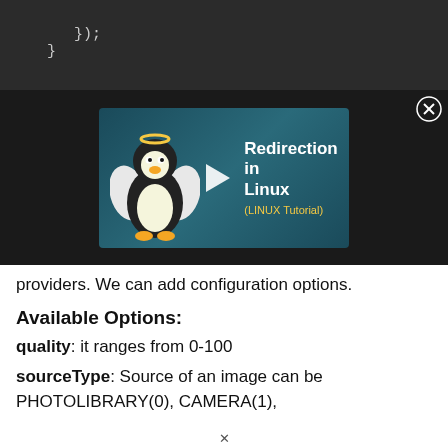});
}
[Figure (screenshot): Advertisement banner for 'Redirection in Linux (LINUX Tutorial)' showing Linux Tux mascot with angel wings and halo, with a play button, on a dark teal background. A close (X) button appears in the top right corner of the overlay area.]
providers. We can add configuration options.
Available Options:
quality: it ranges from 0-100
sourceType: Source of an image can be PHOTOLIBRARY(0), CAMERA(1),